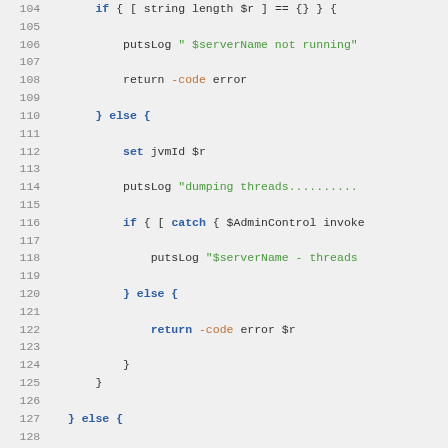[Figure (screenshot): Code editor screenshot showing Tcl/scripting code lines 104–135 with syntax highlighting. Keywords in blue, strings in green, flags in orange, on a light gray background.]